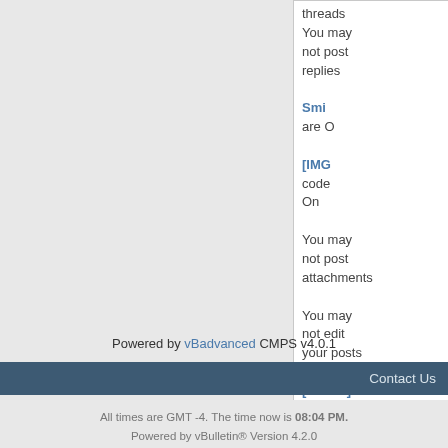threads
You may not post replies
You may not post attachments
You may not edit your posts
Smilies are On [IMG] code is On
[VIDEO] code is On
HTML code is Off
Forum Rules
Powered by vBadvanced CMPS v4.0.1
Contact Us
All times are GMT -4. The time now is 08:04 PM.
Powered by vBulletin® Version 4.2.0
Copyright ©2000 - 2022, Jelsoft Enterprises Ltd.
HTML Help provided by HTML Help Central.